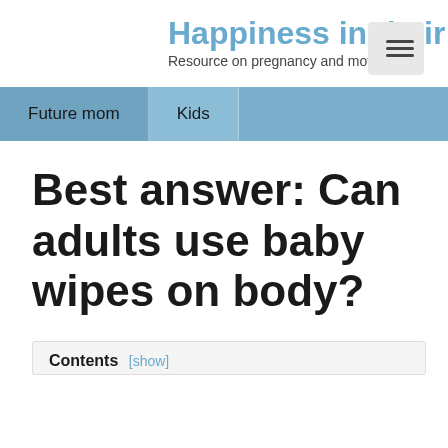Happiness in their ey
Resource on pregnancy and motherhood
Future mom  Kids
Best answer: Can adults use baby wipes on body?
Contents [show]